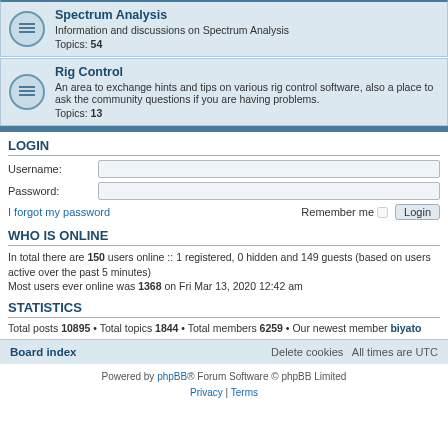Spectrum Analysis — Information and discussions on Spectrum Analysis
Topics: 54
Rig Control — An area to exchange hints and tips on various rig control software, also a place to ask the community questions if you are having problems.
Topics: 13
LOGIN
Username:
Password:
I forgot my password    Remember me  [checkbox]  Login
WHO IS ONLINE
In total there are 150 users online :: 1 registered, 0 hidden and 149 guests (based on users active over the past 5 minutes)
Most users ever online was 1368 on Fri Mar 13, 2020 12:42 am
STATISTICS
Total posts 10895 • Total topics 1844 • Total members 6259 • Our newest member biyato
Board index    Delete cookies    All times are UTC
Powered by phpBB® Forum Software © phpBB Limited
Privacy | Terms